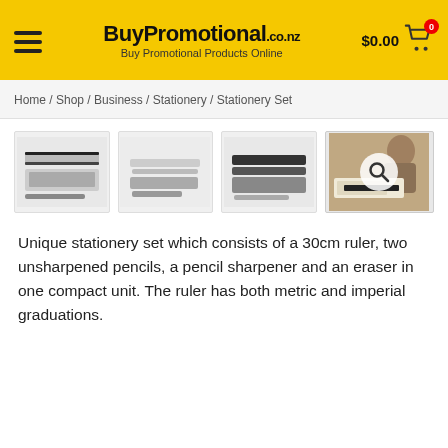BuyPromotional.co.nz – Buy Promotional Products Online | $0.00 cart
Home / Shop / Business / Stationery / Stationery Set
[Figure (photo): Four product images of a stationery set showing a 30cm ruler with pencils, sharpener and eraser. The fourth image shows a person using the stationery set, with a magnifying glass search icon overlay.]
Unique stationery set which consists of a 30cm ruler, two unsharpened pencils, a pencil sharpener and an eraser in one compact unit. The ruler has both metric and imperial graduations.